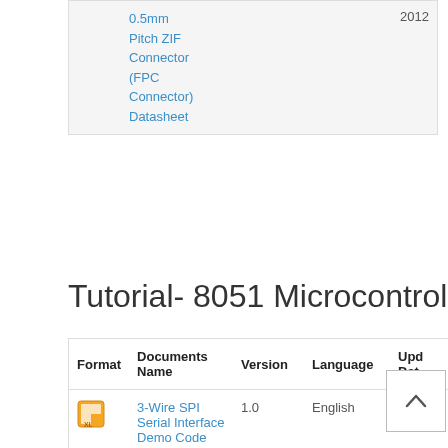| Format | Documents Name | Version | Language | Update Date |
| --- | --- | --- | --- | --- |
| [icon] | 0.5mm Pitch ZIF Connector (FPC Connector) Datasheet |  |  | 2012 |
Tutorial- 8051 Microcontroller
| Format | Documents Name | Version | Language | Update Date |
| --- | --- | --- | --- | --- |
| [icon] | 3-Wire SPI Serial Interface Demo Code | 1.0 | English | Jul-1 201- |
| [icon] | 8080 8-bit Parallel Interface Demo Code | 1.0 | English | May 01- 201 |